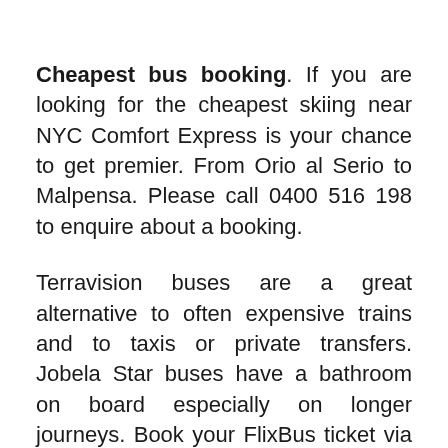Cheapest bus booking. If you are looking for the cheapest skiing near NYC Comfort Express is your chance to get premier. From Orio al Serio to Malpensa. Please call 0400 516 198 to enquire about a booking.
Terravision buses are a great alternative to often expensive trains and to taxis or private transfers. Jobela Star buses have a bathroom on board especially on longer journeys. Book your FlixBus ticket via our app on the bus or through Google Assistant.
The Delhi Bus Stand has super deluxe Volvo hi-tech deluxe buses. Furthermore Aerobus also covers several routes not covered by Gonting express bus service since the